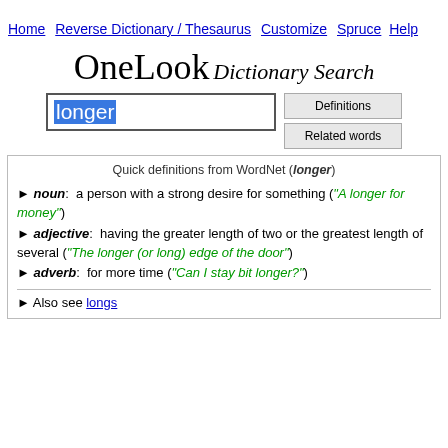Home  Reverse Dictionary / Thesaurus  Customize  Spruce  Help
OneLook Dictionary Search
[Figure (screenshot): Search box with 'longer' typed and highlighted in blue, with Definitions and Related words buttons]
Quick definitions from WordNet (longer)
noun: a person with a strong desire for something ("A longer for money")
adjective: having the greater length of two or the greatest length of several ("The longer (or long) edge of the door")
adverb: for more time ("Can I stay bit longer?")
Also see longs